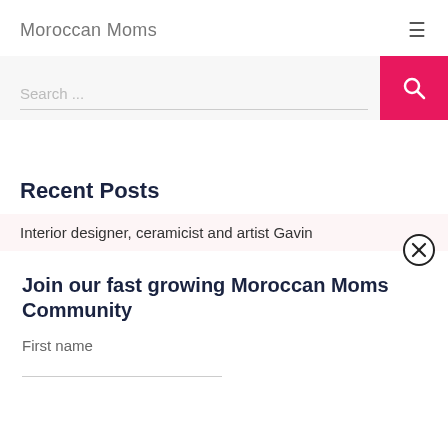Moroccan Moms
Search ...
Recent Posts
Interior designer, ceramicist and artist Gavin
Join our fast growing Moroccan Moms Community
First name